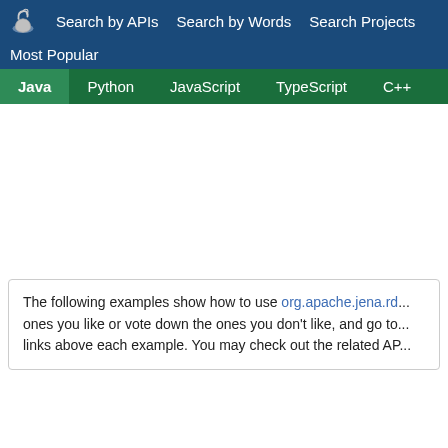Search by APIs   Search by Words   Search Projects
Most Popular
Java   Python   JavaScript   TypeScript   C++   Scala
The following examples show how to use org.apache.jena.rd... ones you like or vote down the ones you don't like, and go to... links above each example. You may check out the related AP...